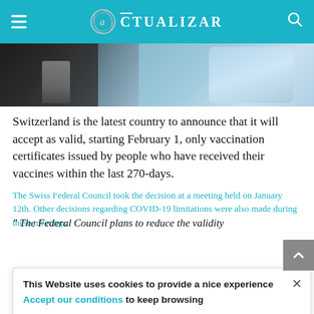Actualizar
[Figure (photo): Person in blue medical protective gear at what appears to be an airport or transit checkpoint, person in dark clothing and white shoes on stairs in background]
Switzerland is the latest country to announce that it will accept as valid, starting February 1, only vaccination certificates issued by people who have received their vaccines within the last 270-days.
The Swiss Federal Council took the decision at a meeting held on January 12th. Other decisions regarding COVID-19 limitations were also made during these meetings.
This Website uses cookies to provide a nice experience Accept our conditions to keep browsing
" The Federal Council plans to reduce the validity